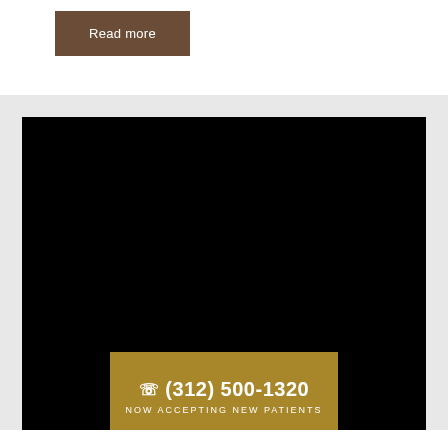Read more
[Figure (photo): Large black/dark image panel, likely a medical office or dental clinic image]
☎ (312) 500-1320
NOW ACCEPTING NEW PATIENTS